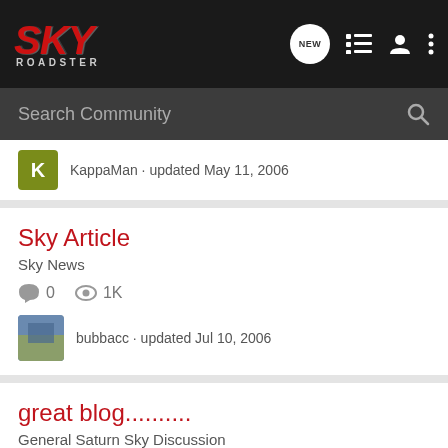SKY ROADSTER
Search Community
KappaMan · updated May 11, 2006
Sky Article
Sky News
0  1K
bubbacc · updated Jul 10, 2006
great blog..........
General Saturn Sky Discussion
30  2K
skybuy · updated Jan 19, 2007